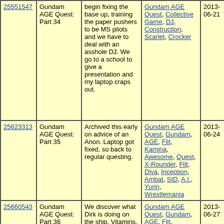| ID | Title | Description | Tags | Date | # |
| --- | --- | --- | --- | --- | --- |
| 25551547 | Gundam AGE Quest: Part 34 | begin fixing the base up, training the paper pushers to be MS pilots and we have to deal with an asshole DJ. We go to a school to give a presentation and my laptop craps out. | Gundam AGE Quest, Collective Game, DJ, Construction, Scarlet, Crocker | 2013-06-21 | 28 |
| 25623313 | Gundam AGE Quest: Part 35 | Archived this early on advice of an Anon. Laptop got fixed, so back to regular questing. | Gundam AGE Quest, Gundam, AGE, Flit, Kamina, Awesome, Quest, X-Rounder, Flit, Diva, Inception, Ambat, SID, A.I., Yurin, Wrestlemania | 2013-06-24 | 28 |
| 25660543 | Gundam AGE Quest: Part 36 | We discover what Dirk is doing on the ship. Vitamins, repairs, jamming, deathflags and a not so surprise attack. | Gundam AGE Quest, Gundam, AGE, Flit, Kamina, Awesome, Quest, X-Rounder, Flit, Diva, Inception, Ambat, SID, A.I., Yurin, Wrestlemania | 2013-06-27 | 26 |